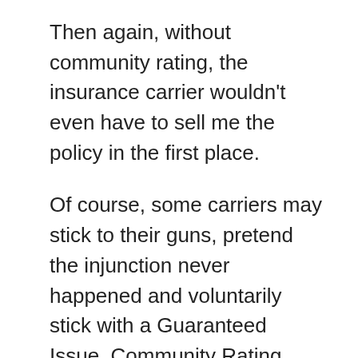Then again, without community rating, the insurance carrier wouldn't even have to sell me the policy in the first place.
Of course, some carriers may stick to their guns, pretend the injunction never happened and voluntarily stick with a Guaranteed Issue, Community Rating policy for their 2019 offerings. If they're the only game in town--that is, if they're in a state or county where there aren't any other carriers offering individual market policies anyway--then that probably makes sense.
HOWEVER...what if there's multiple carriers in that region? The odds are that at least one of them is gonna Go Rogue and start medical